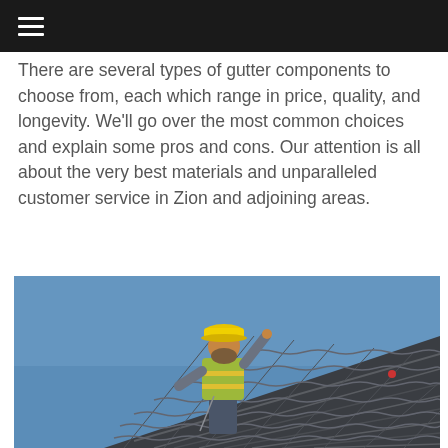☰
There are several types of gutter components to choose from, each which range in price, quality, and longevity. We'll go over the most common choices and explain some pros and cons. Our attention is all about the very best materials and unparalleled customer service in Zion and adjoining areas.
[Figure (photo): A construction worker wearing a yellow hard hat and high-visibility vest standing on a tiled rooftop, gesturing with one hand raised, against a clear blue sky.]